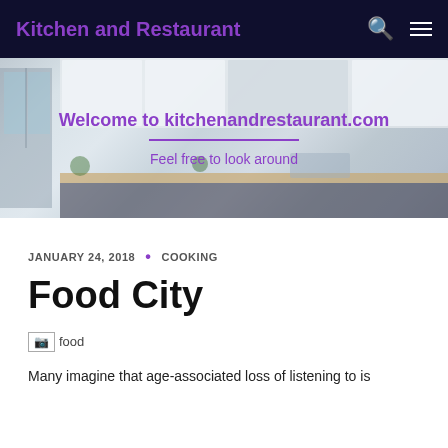Kitchen and Restaurant
[Figure (photo): Hero banner showing a modern white kitchen interior with shelves, plants, and countertop. Overlay text reads 'Welcome to kitchenandrestaurant.com' and 'Feel free to look around']
JANUARY 24, 2018 · COOKING
Food City
[Figure (photo): Broken image placeholder with alt text 'food']
Many imagine that age-associated loss of listening to is